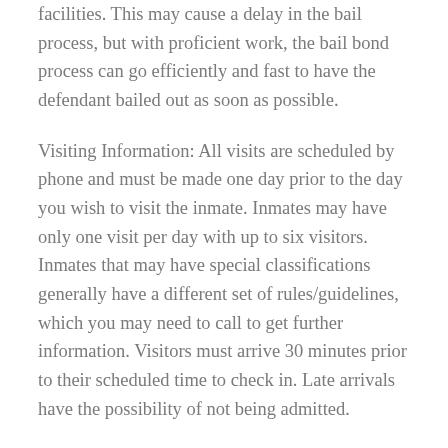facilities. This may cause a delay in the bail process, but with proficient work, the bail bond process can go efficiently and fast to have the defendant bailed out as soon as possible.
Visiting Information: All visits are scheduled by phone and must be made one day prior to the day you wish to visit the inmate. Inmates may have only one visit per day with up to six visitors. Inmates that may have special classifications generally have a different set of rules/guidelines, which you may need to call to get further information. Visitors must arrive 30 minutes prior to their scheduled time to check in. Late arrivals have the possibility of not being admitted.
It is crucial that all visitors that are 18 years or older must have a valid government issued ID card, such as: DMV ID or driver's license; county, city or state employee